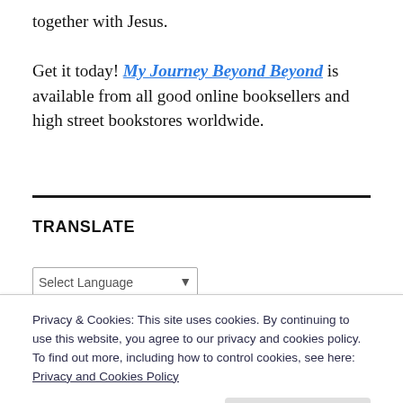together with Jesus. Get it today! My Journey Beyond Beyond is available from all good online booksellers and high street bookstores worldwide.
TRANSLATE
Privacy & Cookies: This site uses cookies. By continuing to use this website, you agree to our privacy and cookies policy. To find out more, including how to control cookies, see here: Privacy and Cookies Policy
Close and accept